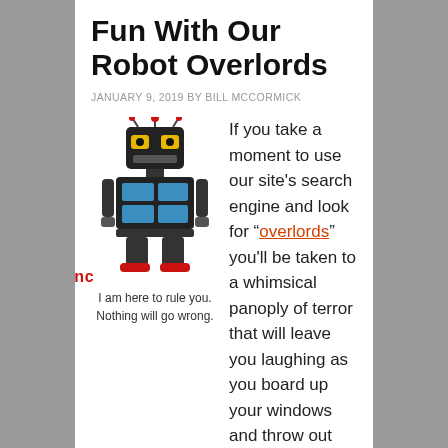Fun With Our Robot Overlords
JANUARY 9, 2019 BY BILL MCCORMICK
[Figure (illustration): A toy robot figurine with black body, red feet, yellow eyes, and red antenna orbs. The 'WNC' logo appears in red below the robot image.]
I am here to rule you. Nothing will go wrong.
If you take a moment to use our site’s search engine and look for “overlords” you’ll be taken to a whimsical panoply of terror that will leave you laughing as you board up your windows and throw out anything connected to the internet. I didn’t mean to alarm people, but logical extrapolation after logical extrapolation, based on